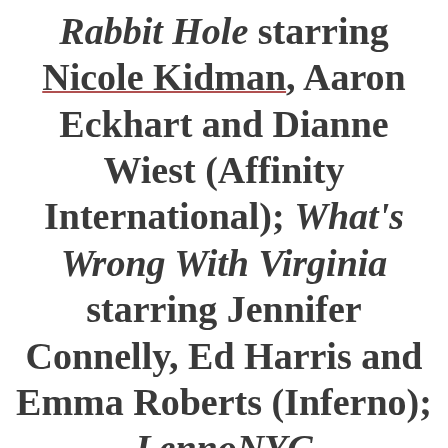Rabbit Hole starring Nicole Kidman, Aaron Eckhart and Dianne Wiest (Affinity International); What's Wrong With Virginia starring Jennifer Connelly, Ed Harris and Emma Roberts (Inferno); LennoNYC